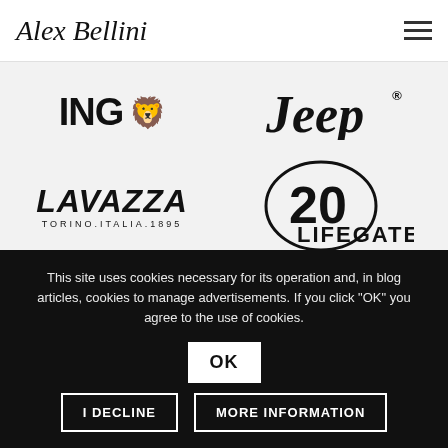Alex Bellini
[Figure (logo): ING logo with lion icon]
[Figure (logo): Jeep logo]
[Figure (logo): Lavazza logo - TORINO.ITALIA.1895]
[Figure (logo): LifeGate 20 anniversary logo]
[Figure (logo): L'OREAL logo]
[Figure (logo): LUXOTTICA logo]
This site uses cookies necessary for its operation and, in blog articles, cookies to manage advertisements. If you click "OK" you agree to the use of cookies.
OK
I DECLINE
MORE INFORMATION